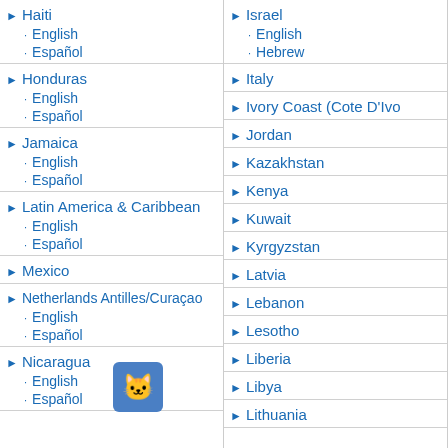Haiti
English
Español
Honduras
English
Español
Jamaica
English
Español
Latin America & Caribbean
English
Español
Mexico
Netherlands Antilles/Curaçao
English
Español
Nicaragua
English
Español
Israel
English
Hebrew
Italy
Ivory Coast (Cote D'Ivo…
Jordan
Kazakhstan
Kenya
Kuwait
Kyrgyzstan
Latvia
Lebanon
Lesotho
Liberia
Libya
Lithuania